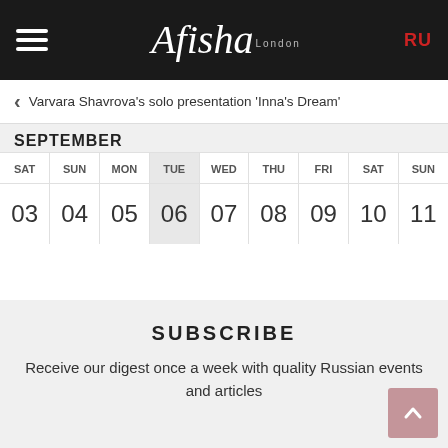Afisha London
Varvara Shavrova's solo presentation 'Inna's Dream'
SEPTEMBER
| SAT | SUN | MON | TUE | WED | THU | FRI | SAT | SUN |
| --- | --- | --- | --- | --- | --- | --- | --- | --- |
| 03 | 04 | 05 | 06 | 07 | 08 | 09 | 10 | 11 |
SUBSCRIBE
Receive our digest once a week with quality Russian events and articles